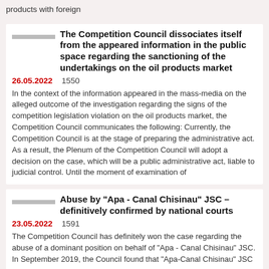products with foreign
The Competition Council dissociates itself from the appeared information in the public space regarding the sanctioning of the undertakings on the oil products market
26.05.2022   1550
In the context of the information appeared in the mass-media on the alleged outcome of the investigation regarding the signs of the competition legislation violation on the oil products market, the Competition Council communicates the following: Currently, the Competition Council is at the stage of preparing the administrative act. As a result, the Plenum of the Competition Council will adopt a decision on the case, which will be a public administrative act, liable to judicial control. Until the moment of examination of
Abuse by "Apa - Canal Chisinau" JSC – definitively confirmed by national courts
23.05.2022   1591
The Competition Council has definitely won the case regarding the abuse of a dominant position on behalf of "Apa - Canal Chisinau" JSC. In September 2019, the Council found that "Apa-Canal Chisinau" JSC